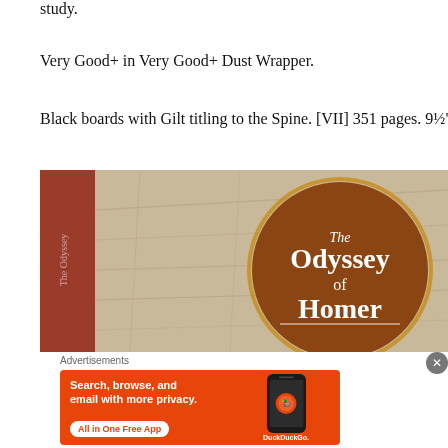study.
Very Good+ in Very Good+ Dust Wrapper.
Black boards with Gilt titling to the Spine. [VII] 351 pages. 9½"
[Figure (photo): Photograph of a book showing the dust jacket of 'The Odyssey of Homer'. The cover has a marbled beige/tan texture with a large brown circle in the center containing the text 'The Odyssey of Homer' in white serif font. The book spine is visible on the left showing red color with text 'The Odyssey'.]
Advertisements
[Figure (other): DuckDuckGo advertisement banner with orange background. Text reads 'Search, browse, and email with more privacy. All in One Free App' with a DuckDuckGo branded smartphone image.]